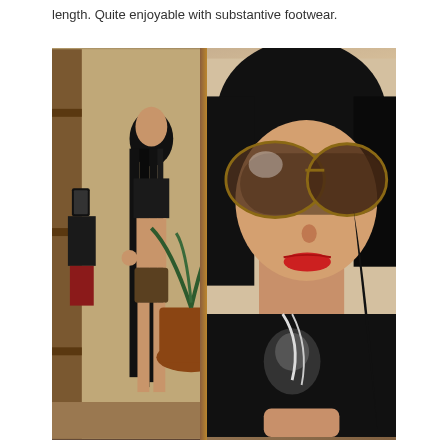length. Quite enjoyable with substantive footwear.
[Figure (photo): A selfie photo showing a young woman with dark hair, large sunglasses, red lipstick, and a black graphic t-shirt with a chain necklace in the foreground. In the background, a mirror reflects her full-length view showing very long straight black hair reaching her waist, wearing shorts, posing with hand on hip. A potted plant and wooden mirror frame are visible.]